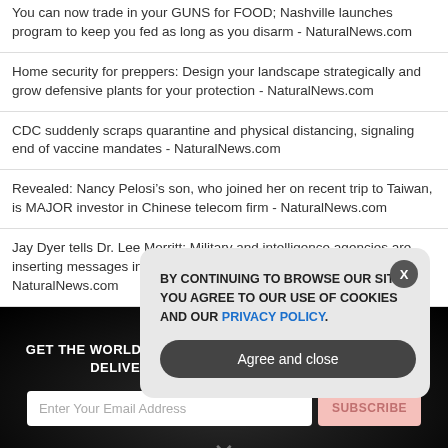You can now trade in your GUNS for FOOD; Nashville launches program to keep you fed as long as you disarm - NaturalNews.com
Home security for preppers: Design your landscape strategically and grow defensive plants for your protection - NaturalNews.com
CDC suddenly scraps quarantine and physical distancing, signaling end of vaccine mandates - NaturalNews.com
Revealed: Nancy Pelosi’s son, who joined her on recent trip to Taiwan, is MAJOR investor in Chinese telecom firm - NaturalNews.com
Jay Dyer tells Dr. Lee Merritt: Military and intelligence agencies are inserting messages into films, TV shows - Brighteon.TV - NaturalNews.com
GET THE WORLD'S BEST NATURAL HEALTH NEWSLETTER DELIVERED STRAIGHT TO YOUR INBOX
Enter Your Email Address
SUBSCRIBE
BY CONTINUING TO BROWSE OUR SITE YOU AGREE TO OUR USE OF COOKIES AND OUR PRIVACY POLICY.
Agree and close